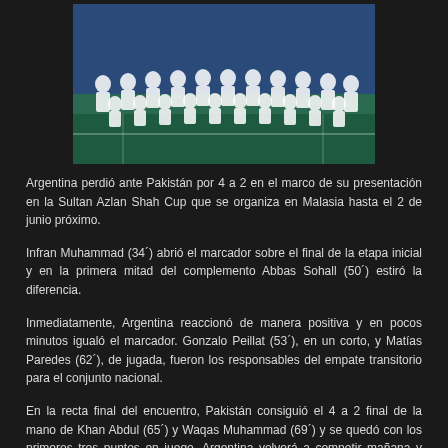[Figure (photo): Group photo of a field hockey team wearing white uniforms, posed on a blue artificial turf field]
Argentina perdió ante Pakistán por 4 a 2 en el marco de su presentación en la Sultan Azlan Shah Cup que se organiza en Malasia hasta el 2 de junio próximo.
Infran Muhammad (34´) abrió el marcador sobre el final de la etapa inicial y en la primera mitad del complemento Abbas Sohall (50´) estiró la diferencia.
Inmediatamente, Argentina reaccionó de manera positiva y en pocos minutos igualó el marcador. Gonzalo Peillat (53´), en un corto, y Matías Paredes (62´), de jugada, fueron los responsables del empate transitorio para el conjunto nacional.
En la recta final del encuentro, Pakistán consiguió el 4 a 2 final de la mano de Khan Abdul (65´) y Waqas Muhammad (69´) y se quedó con los primeros tres puntos en juego. Argentina volverá a competir mañana y buscará sumar sus primeras unidades en el certamen ante Nueva Zelanda desde las